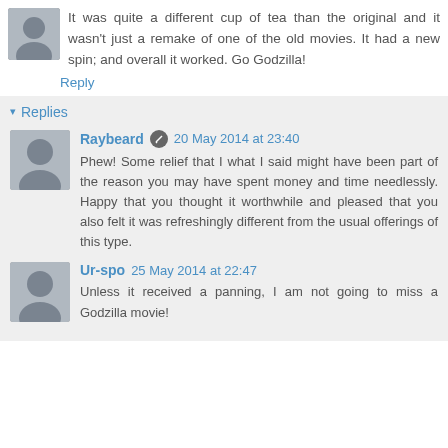It was quite a different cup of tea than the original and it wasn't just a remake of one of the old movies. It had a new spin; and overall it worked. Go Godzilla!
Reply
Replies
Raybeard  20 May 2014 at 23:40
Phew! Some relief that I what I said might have been part of the reason you may have spent money and time needlessly. Happy that you thought it worthwhile and pleased that you also felt it was refreshingly different from the usual offerings of this type.
Ur-spo  25 May 2014 at 22:47
Unless it received a panning, I am not going to miss a Godzilla movie!